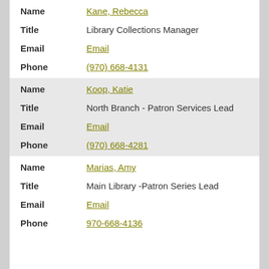| Field | Value |
| --- | --- |
| Name | Kane, Rebecca |
| Title | Library Collections Manager |
| Email | Email |
| Phone | (970) 668-4131 |
| Name | Koop, Katie |
| Title | North Branch - Patron Services Lead |
| Email | Email |
| Phone | (970) 668-4281 |
| Name | Marias, Amy |
| Title | Main Library -Patron Series Lead |
| Email | Email |
| Phone | 970-668-4136 |